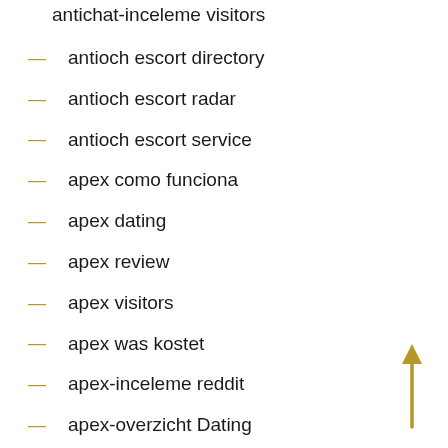antichat-inceleme visitors
antioch escort directory
antioch escort radar
antioch escort service
apex como funciona
apex dating
apex review
apex visitors
apex was kostet
apex-inceleme reddit
apex-overzicht Dating
apex-overzicht Review
[Figure (illustration): A golden/yellow upward-pointing arrow on the right side of the page]